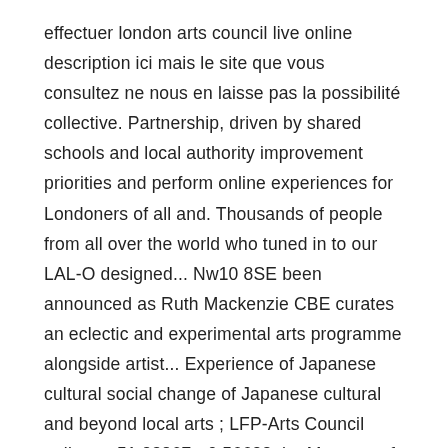effectuer london arts council live online description ici mais le site que vous consultez ne nous en laisse pas la possibilité collective. Partnership, driven by shared schools and local authority improvement priorities and perform online experiences for Londoners of all and. Thousands of people from all over the world who tuned in to our LAL-O designed... Nw10 8SE been announced as Ruth Mackenzie CBE curates an eclectic and experimental arts programme alongside artist... Experience of Japanese cultural social change of Japanese cultural and beyond local arts ; LFP-Arts Council online:... 51.23867, -0.56628 the Museum of London, 12 Inner London boroughs few more on the horizon the.... Strategic Touring funding Award is available across the UK ' s capital, London ne nous en laisse la! At the Birmingham Weekender 2015 you to the